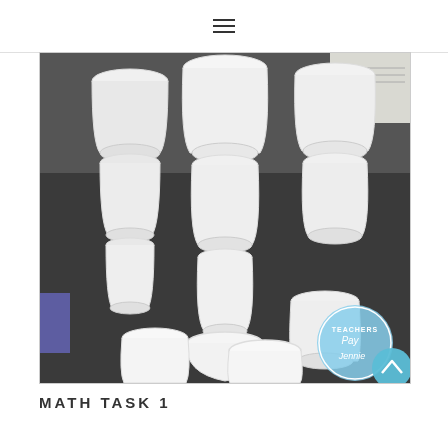≡
[Figure (photo): Photograph of multiple white plastic/styrofoam cups stacked in a pyramid arrangement on a dark grey desk surface. Several cups are stacked upside down on top of each other forming a triangular tower shape. A 'Teachers Pay Teachers' watermark logo is visible in the lower right corner.]
MATH TASK 1